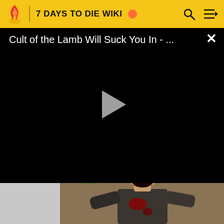7 DAYS TO DIE WIKI
[Figure (screenshot): Video player overlay showing title 'Cult of the Lamb Will Suck You In - ...' with a play button on a black background and an X close button]
[Figure (screenshot): Bottom portion showing a zombie character from 7 Days to Die game, a bald zombie with bloody face and open mouth, in an outdoor environment. Left side shows a gray/white rectangular panel on dark purple background.]